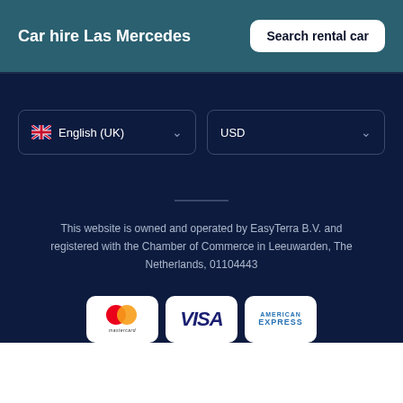Car hire Las Mercedes
Search rental car
English (UK)
USD
This website is owned and operated by EasyTerra B.V. and registered with the Chamber of Commerce in Leeuwarden, The Netherlands, 01104443
[Figure (logo): Mastercard, Visa, and American Express payment logos on white rounded rectangles]